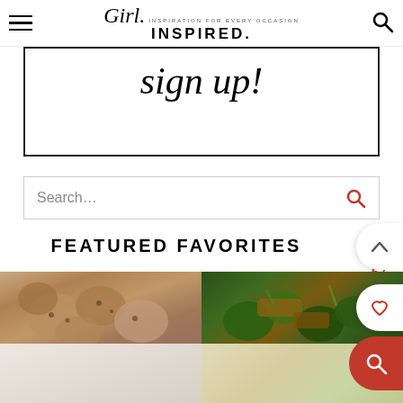Girl Inspired. · Inspiration for every occasion
[Figure (screenshot): Sign up banner with script text 'sign up!' inside a black bordered rectangle]
[Figure (screenshot): Search bar with placeholder text 'Search...' and a red search icon on the right]
FEATURED FAVORITES
[Figure (photo): Close-up photo of chocolate chip cookies]
[Figure (photo): Photo of beef and broccoli stir fry]
[Figure (photo): Partially visible faded food photo bottom left]
[Figure (photo): Partially visible faded food photo bottom right]